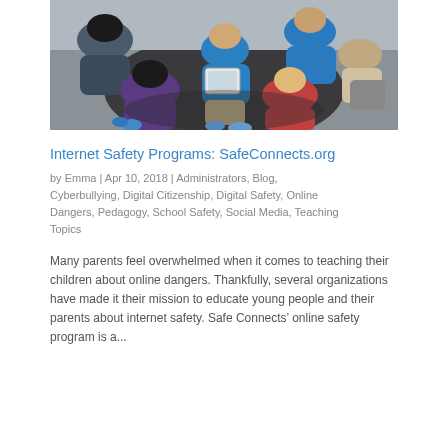[Figure (photo): Students or young people sitting in a circle on the floor, one holding a tablet device, in a classroom or informal learning setting.]
Internet Safety Programs: SafeConnects.org
by Emma | Apr 10, 2018 | Administrators, Blog, Cyberbullying, Digital Citizenship, Digital Safety, Online Dangers, Pedagogy, School Safety, Social Media, Teaching Topics
Many parents feel overwhelmed when it comes to teaching their children about online dangers. Thankfully, several organizations have made it their mission to educate young people and their parents about internet safety. Safe Connects’ online safety program is a...